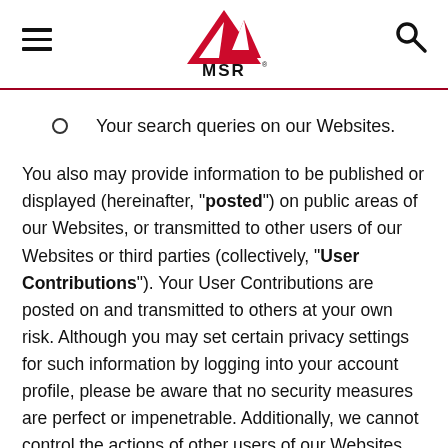MSR logo header with menu and search icons
Your search queries on our Websites.
You also may provide information to be published or displayed (hereinafter, "posted") on public areas of our Websites, or transmitted to other users of our Websites or third parties (collectively, "User Contributions"). Your User Contributions are posted on and transmitted to others at your own risk. Although you may set certain privacy settings for such information by logging into your account profile, please be aware that no security measures are perfect or impenetrable. Additionally, we cannot control the actions of other users of our Websites